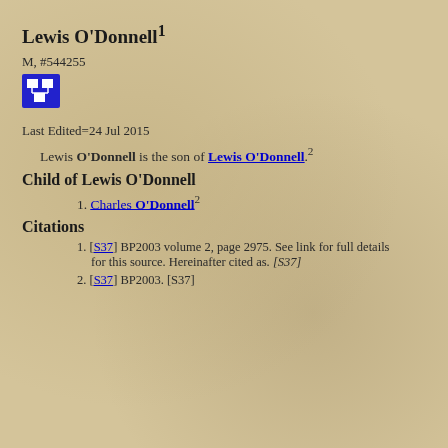Lewis O'Donnell¹
M, #544255
[Figure (other): Blue icon button showing a genealogy/family tree symbol with connected squares]
Last Edited=24 Jul 2015
Lewis O'Donnell is the son of Lewis O'Donnell.²
Child of Lewis O'Donnell
1. Charles O'Donnell²
Citations
1. [S37] BP2003 volume 2, page 2975. See link for full details for this source. Hereinafter cited as. [S37]
2. [S37] BP2003. [S37]